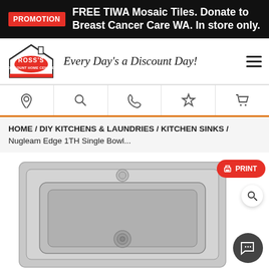PROMOTION FREE TIWA Mosaic Tiles. Donate to Breast Cancer Care WA. In store only.
[Figure (logo): Ross's Discount Home Centre logo with tagline 'Every Day's a Discount Day!']
[Figure (infographic): Navigation bar with icons: location pin, search, phone, star/wishlist, shopping cart]
HOME / DIY KITCHENS & LAUNDRIES / KITCHEN SINKS / Nugleam Edge 1TH Single Bowl...
[Figure (photo): Nugleam Edge 1TH Single Bowl kitchen sink product photo showing stainless steel single bowl drop-in sink with tap hole, viewed from above]